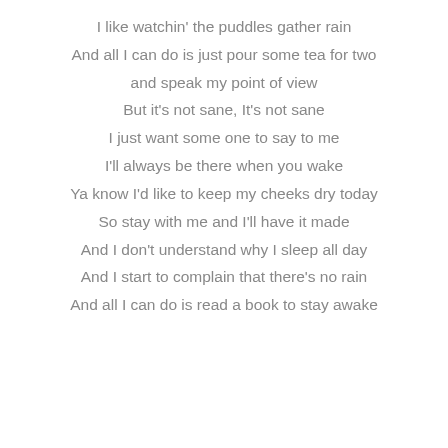I like watchin' the puddles gather rain
And all I can do is just pour some tea for two
and speak my point of view
But it's not sane, It's not sane
I just want some one to say to me
I'll always be there when you wake
Ya know I'd like to keep my cheeks dry today
So stay with me and I'll have it made
And I don't understand why I sleep all day
And I start to complain that there's no rain
And all I can do is read a book to stay awake